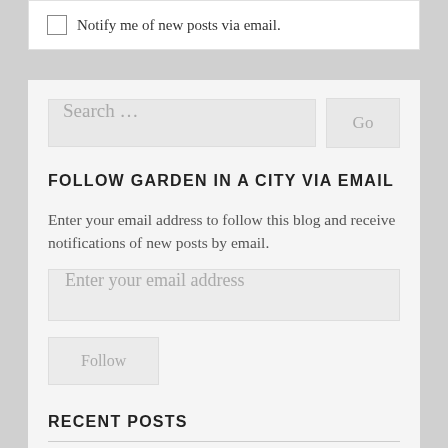Notify me of new posts via email.
Search ...
FOLLOW GARDEN IN A CITY VIA EMAIL
Enter your email address to follow this blog and receive notifications of new posts by email.
Enter your email address
Follow
RECENT POSTS
Rainy Day Update